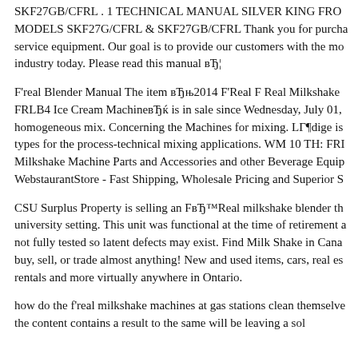SKF27GB/CFRL . 1 TECHNICAL MANUAL SILVER KING FRO MODELS SKF27G/CFRL & SKF27GB/CFRL Thank you for purcha service equipment. Our goal is to provide our customers with the mo industry today. Please read this manual вЂ¦
F'real Blender Manual The item вЂњ2014 F'Real F Real Milkshake FRLB4 Ice Cream MachineвЂќ is in sale since Wednesday, July 01, homogeneous mix. Concerning the Machines for mixing. LГ¶dige is types for the process-technical mixing applications. WM 10 TH: FRI Milkshake Machine Parts and Accessories and other Beverage Equip WebstaurantStore - Fast Shipping, Wholesale Pricing and Superior S
CSU Surplus Property is selling an FвЂ™Real milkshake blender th university setting. This unit was functional at the time of retirement a not fully tested so latent defects may exist. Find Milk Shake in Cana buy, sell, or trade almost anything! New and used items, cars, real es rentals and more virtually anywhere in Ontario.
how do the f'real milkshake machines at gas stations clean themselve the content contains a result to the same will be leaving a sol